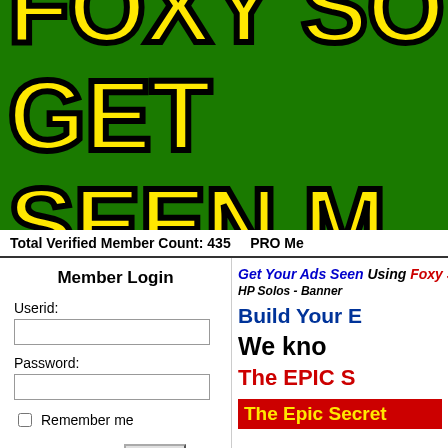[Figure (logo): Green banner with large bold yellow text with black outline reading 'FOXY SO...' on top line and 'GET SEEN M...' on second line]
Total Verified Member Count: 435   PRO Me...
Member Login
Userid:
Password:
Remember me
Lost Password?  Login
Get Your Ads Seen Using Foxy So...
HP Solos - Banner
Build Your E...
We kno...
The EPIC S...
The Epic Secret...